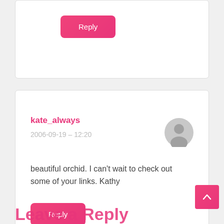[Figure (other): Partial comment card at top with a pink Reply button]
kate_always
2006-09-19 – 12:20
beautiful orchid. I can't wait to check out some of your links. Kathy
[Figure (other): Gray avatar/profile icon circle]
Reply
Leave a Reply